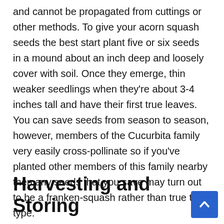and cannot be propagated from cuttings or other methods. To give your acorn squash seeds the best start plant five or six seeds in a mound about an inch deep and loosely cover with soil. Once they emerge, thin weaker seedlings when they're about 3-4 inches tall and have their first true leaves. You can save seeds from season to season, however, members of the Cucurbita family very easily cross-pollinate so if you've planted other members of this family nearby then any seeds that you save may turn out to be a franken-squash rather than true to type.
Harvesting and Storing